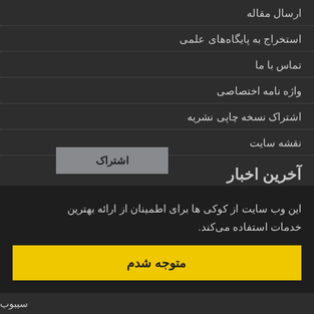ارسال مقاله
استخراج به پایگاه‌های علمی
تماس با ما
واژه نامه اختصاصی
اشتراک نسخه چاپی نشریه
نقشه سایت
آخرین اخبار
اشتراک خبرنامه
این وب سایت از کوکی ها برای اطمینان از ارائه بهترین خدمات استفاده می‌کند.
متوجه شدم
اشتراک
سیبوب